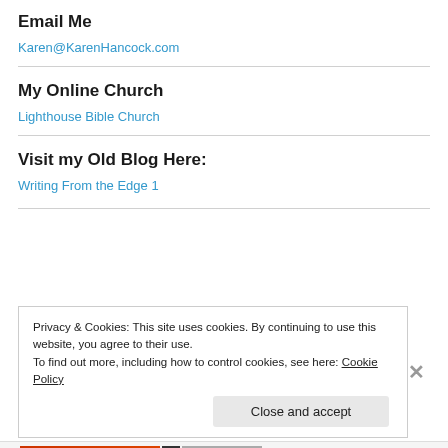Email Me
Karen@KarenHancock.com
My Online Church
Lighthouse Bible Church
Visit my Old Blog Here:
Writing From the Edge 1
Privacy & Cookies: This site uses cookies. By continuing to use this website, you agree to their use.
To find out more, including how to control cookies, see here: Cookie Policy
Close and accept